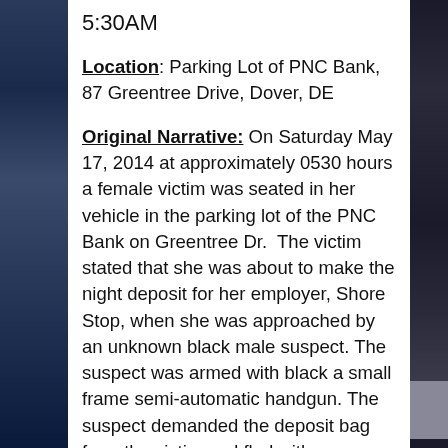5:30AM
Location: Parking Lot of PNC Bank, 87 Greentree Drive, Dover, DE
Original Narrative: On Saturday May 17, 2014 at approximately 0530 hours a female victim was seated in her vehicle in the parking lot of the PNC Bank on Greentree Dr. The victim stated that she was about to make the night deposit for her employer, Shore Stop, when she was approached by an unknown black male suspect. The suspect was armed with black a small frame semi-automatic handgun. The suspect demanded the deposit bag from the victim and fled with same towards Kenton Rd on foot. The